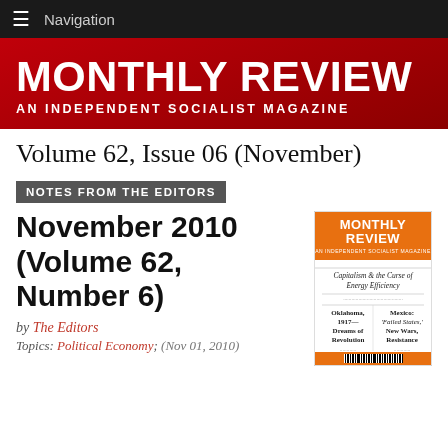Navigation
MONTHLY REVIEW
AN INDEPENDENT SOCIALIST MAGAZINE
Volume 62, Issue 06 (November)
NOTES FROM THE EDITORS
November 2010 (Volume 62, Number 6)
by The Editors
Topics: Political Economy; (Nov 01, 2010)
[Figure (illustration): Monthly Review magazine cover for November 2010, Volume 62 Number 6. Orange/yellow header with MONTHLY REVIEW title. Topics include: Capitalism & the Curse of Energy Efficiency, Oklahoma 1917—Dreams of Revolution, Mexico: Failed States, New Wars, Resistance. Barcode at bottom.]